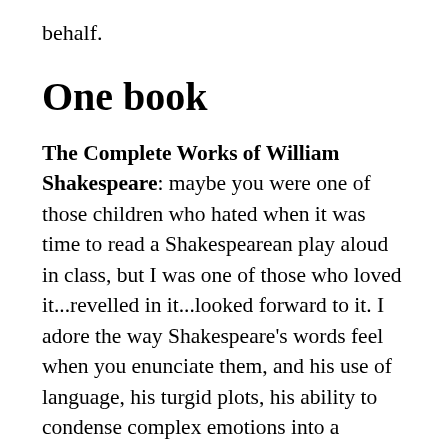behalf.
One book
The Complete Works of William Shakespeare: maybe you were one of those children who hated when it was time to read a Shakespearean play aloud in class, but I was one of those who loved it...revelled in it...looked forward to it. I adore the way Shakespeare's words feel when you enunciate them, and his use of language, his turgid plots, his ability to condense complex emotions into a